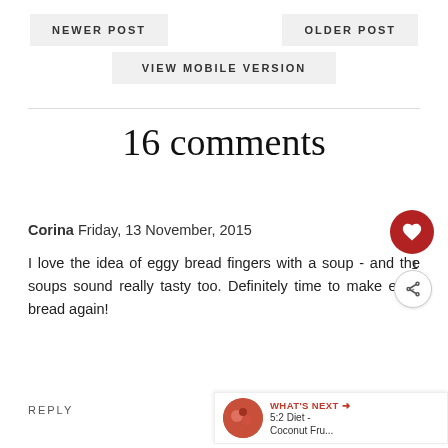NEWER POST    VIEW MOBILE VERSION    OLDER POST
16 comments
Corina Friday, 13 November, 2015

I love the idea of eggy bread fingers with a soup - and the soups sound really tasty too. Definitely time to make eggy bread again!
REPLY